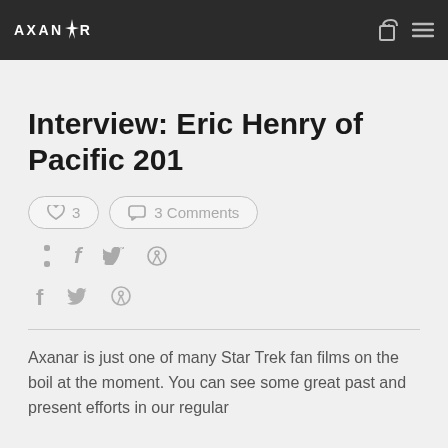AXANR
Interview: Eric Henry of Pacific 201
♡ 3   💬 3 Comments
f  Twitter  Pinterest social share icons
Axanar is just one of many Star Trek fan films on the boil at the moment. You can see some great past and present efforts in our regular